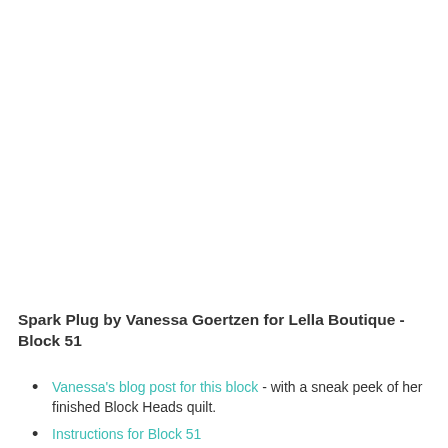Spark Plug by Vanessa Goertzen for Lella Boutique - Block 51
Vanessa's blog post for this block - with a sneak peek of her finished Block Heads quilt.
Instructions for Block 51